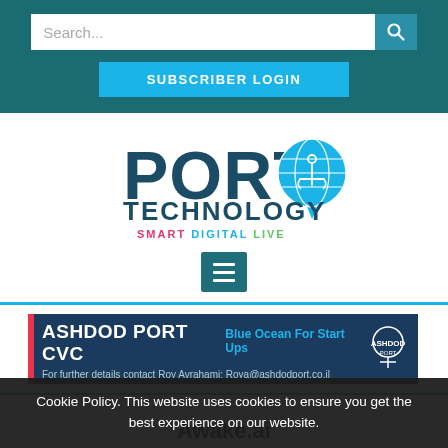Search...
SUBSCRIBER LOGIN
[Figure (logo): Port Technology logo with globe/anchor pin icon, subtitle SMART DIGITAL LIVE]
[Figure (other): Hamburger menu icon button]
[Figure (other): Ashdod Port CVC advertisement banner: Blue Ocean For Start Ups. For further details contact Roy Avrahami: Roya@ashdodport.co.il]
Awake.ai
Cookie Policy. This website uses cookies to ensure you get the best experience on our website.